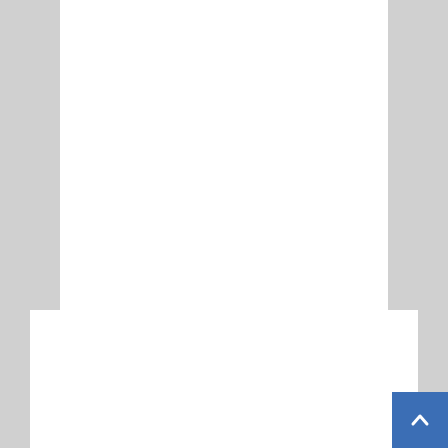www.webrootcomsafe.com
Page Rank: 0/10 | Alexa Rank: N/A | Backlin
$ 3,192